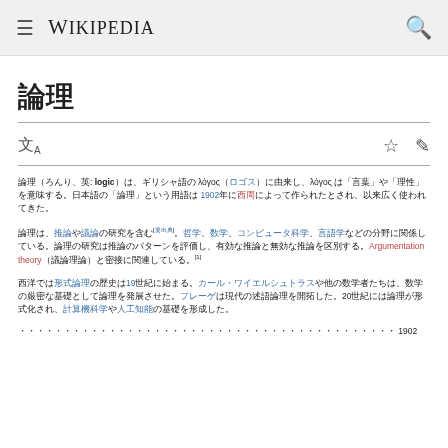Wikipedia
論理
論理（ろんり、英: logic）は、ギリシャ語の λόγος（ロゴス）に由来し、λόγος は「言葉」や「理性」を意味する。日本語の「論理」という用語は 1902年に西周によって作られたとされ、以来広く使われてきた。
論理は、推論や議論の研究を含む[要出典]。哲学、数学、コンピュータ科学、言語学などの分野に関係している。論理の研究は推論のパターンを評価し、有効な推論と無効な推論を区別する。Argumentation theory（議論理論）と密接に関連している。[1]
西洋では形式論理の歴史は19世紀に始まる。カール・ワイエルシュトラスや他の数学者たちは、数学の厳密な基礎として論理を発展させた。フレーゲは現代の述語論理を開拓した。20世紀には論理が形式化され、計算機科学や人工知能の基礎を形成した。